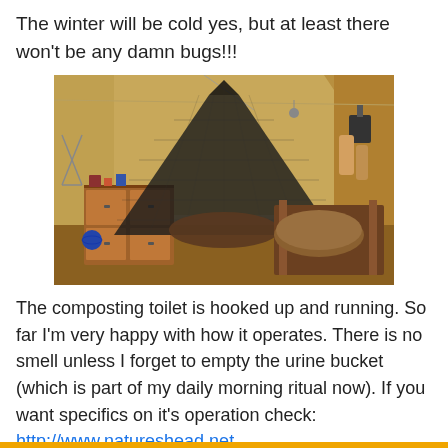The winter will be cold yes, but at least there won't be any damn bugs!!!
[Figure (photo): Interior of a canvas tent showing a large black mesh mosquito net hung from the ceiling in a funnel/cone shape, with wooden furniture, bags, and camping equipment visible inside the tent.]
The composting toilet is hooked up and running. So far I'm very happy with how it operates. There is no smell unless I forget to empty the urine bucket (which is part of my daily morning ritual now). If you want specifics on it's operation check: http://www.natureshead.net.